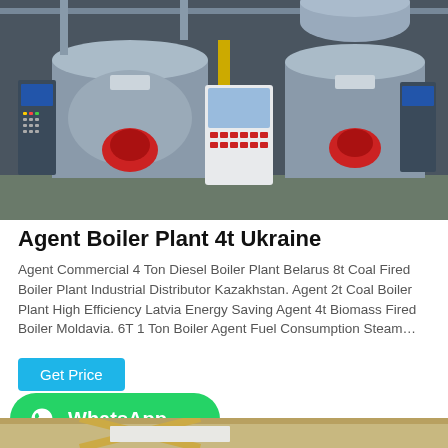[Figure (photo): Industrial boiler plant room with two large horizontal steam boilers with red burners, control panels, and piping. Chinese manufacturer branding visible.]
Agent Boiler Plant 4t Ukraine
Agent Commercial 4 Ton Diesel Boiler Plant Belarus 8t Coal Fired Boiler Plant Industrial Distributor Kazakhstan. Agent 2t Coal Boiler Plant High Efficiency Latvia Energy Saving Agent 4t Biomass Fired Boiler Moldavia. 6T 1 Ton Boiler Agent Fuel Consumption Steam…
Get Price
[Figure (logo): WhatsApp button with logo and text 'WhatsApp' on green rounded rectangle background]
[Figure (photo): Partial view of interior space with yellow structural beams and ceiling panels, bottom of page]